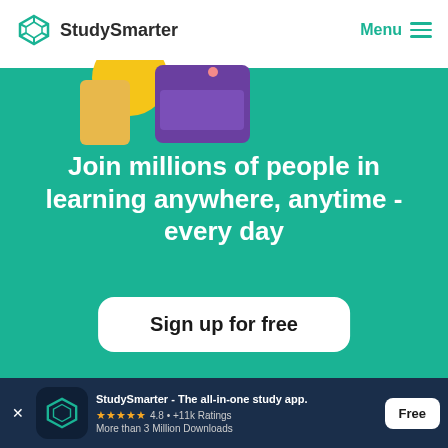StudySmarter  Menu
[Figure (screenshot): StudySmarter app hero section with teal background. Top shows partial illustration of a person with yellow and purple elements. Large white bold text reads: Join millions of people in learning anywhere, anytime - every day. White rounded button reads: Sign up for free.]
Join millions of people in learning anywhere, anytime - every day
Sign up for free
StudySmarter - The all-in-one study app.
★★★★★ 4.8 • +11k Ratings
More than 3 Million Downloads
Free